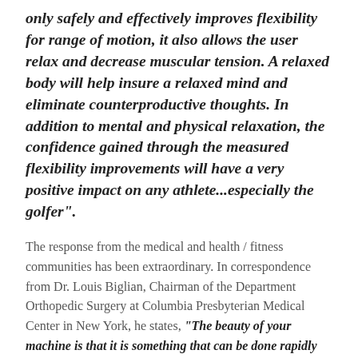only safely and effectively improves flexibility for range of motion, it also allows the user relax and decrease muscular tension. A relaxed body will help insure a relaxed mind and eliminate counterproductive thoughts. In addition to mental and physical relaxation, the confidence gained through the measured flexibility improvements will have a very positive impact on any athlete...especially the golfer".
The response from the medical and health / fitness communities has been extraordinary. In correspondence from Dr. Louis Biglian, Chairman of the Department Orthopedic Surgery at Columbia Presbyterian Medical Center in New York, he states, "The beauty of your machine is that it is something that can be done rapidly without a great deal of effort. Furthermore, it provides a